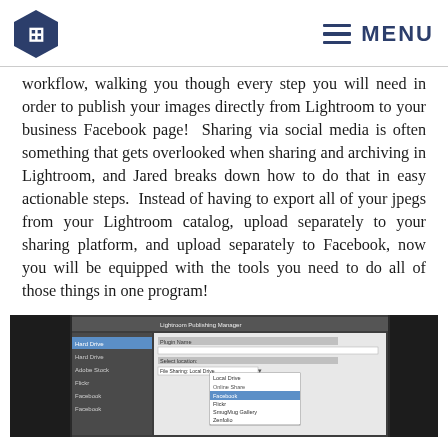MENU
workflow, walking you though every step you will need in order to publish your images directly from Lightroom to your business Facebook page! Sharing via social media is often something that gets overlooked when sharing and archiving in Lightroom, and Jared breaks down how to do that in easy actionable steps. Instead of having to export all of your jpegs from your Lightroom catalog, upload separately to your sharing platform, and upload separately to Facebook, now you will be equipped with the tools you need to do all of those things in one program!
[Figure (screenshot): Screenshot of Lightroom Publishing Manager dialog with Facebook plugin options and a dropdown menu visible]